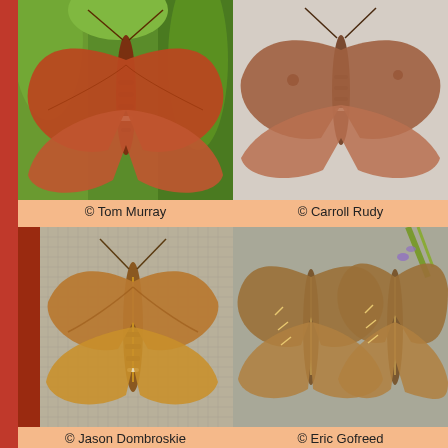[Figure (photo): Moth (hawkmoth/sphinx moth) with reddish-brown wings spread, photographed against green foliage background. Photo credit: Tom Murray.]
© Tom Murray
[Figure (photo): Moth (hawkmoth/sphinx moth) with brownish wings spread, photographed against white/grey background. Photo credit: Carroll Rudy.]
© Carroll Rudy
[Figure (photo): Moth (hawkmoth/sphinx moth) with tan/brown wings spread, photographed against a fabric/mesh background with red wall visible. Photo credit: Jason Dombroskie.]
© Jason Dombroskie
[Figure (photo): Two moths (hawkmoth/sphinx moth) with brownish wings, photographed against a neutral grey background with green plant. Photo credit: Eric Gofreed.]
© Eric Gofreed